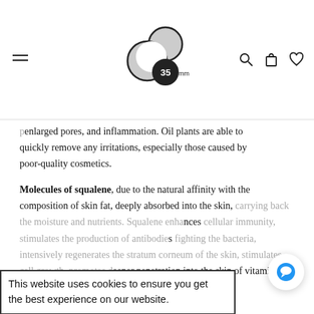35mm logo with navigation icons (hamburger menu, search, cart, heart)
enlarged pores, and inflammation. Oil plants are able to quickly remove any irritations, especially those caused by poor-quality cosmetics.
Molecules of squalene, due to the natural affinity with the composition of skin fat, deeply absorbed into the skin, carrying back the moisture and nutrients. Squalene enhances cellular immunity, stimulates the production of antibodies fighting the bacteria, intensively regenerates the stratum corneum of the skin, stimulates cell growth, promotes deeper penetration into the skin of vitamins and minerals.
This website uses cookies to ensure you get the best experience on our website. Got it!
How to use: Gently apply a few drops of oil onto the inflamed areas of the skin after the basic skin care.
Active Refresh Herb Special Treatment Oil can be used for